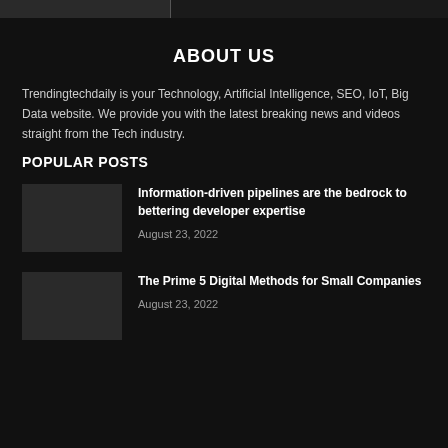ABOUT US
Trendingtechdaily is your Technology, Artificial Intelligence, SEO, IoT, Big Data website. We provide you with the latest breaking news and videos straight from the Tech industry.
POPULAR POSTS
Information-driven pipelines are the bedrock to bettering developer expertise
August 23, 2022
The Prime 5 Digital Methods for Small Companies
August 23, 2022